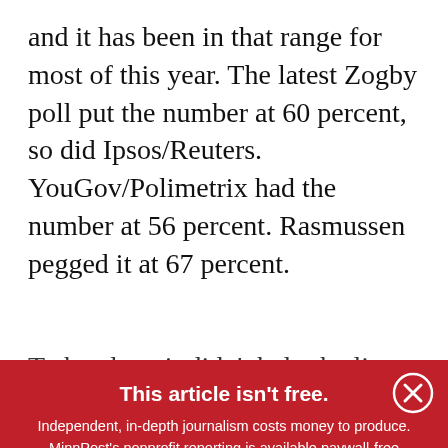and it has been in that range for most of this year. The latest Zogby poll put the number at 60 percent, so did Ipsos/Reuters. YouGov/Polimetrix had the number at 56 percent. Rasmussen pegged it at 67 percent.
To be clear, it didn't help the li...
This article isn't free.
Independent, in-depth journalism costs money to produce. MinnPost's nonprofit reporting is available paywall-free thanks to the financial support of loyal readers like you. Will you make a tax-deductible donation today?
♥ DONATE NOW